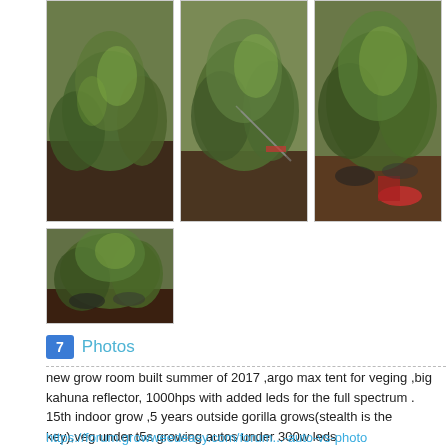[Figure (photo): Grid of 4 plant/cannabis photos in grow room setting]
7 Photos
new grow room built summer of 2017 ,argo max tent for veging ,big kahuna reflector, 1000hps with added leds for the full spectrum . 15th indoor grow ,5 years outside gorilla grows(stealth is the key),veg under t5s growing autos under 300w leds
current grow https://forum.growweedeasy.com/forum...-new-grow-room
https://forum.growweedeasy.com/forum...-auto-vs-photo
https://forum.growweedeasy.com/forum...-week-4-update